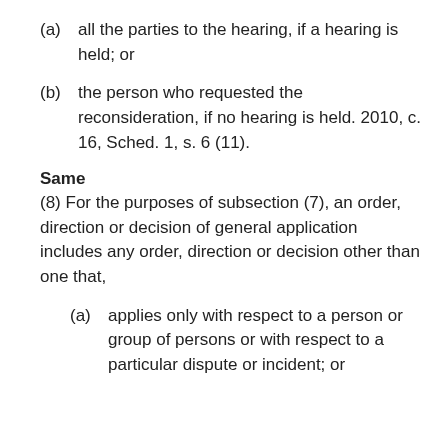(a) all the parties to the hearing, if a hearing is held; or
(b) the person who requested the reconsideration, if no hearing is held. 2010, c. 16, Sched. 1, s. 6 (11).
Same
(8) For the purposes of subsection (7), an order, direction or decision of general application includes any order, direction or decision other than one that,
(a) applies only with respect to a person or group of persons or with respect to a particular dispute or incident; or